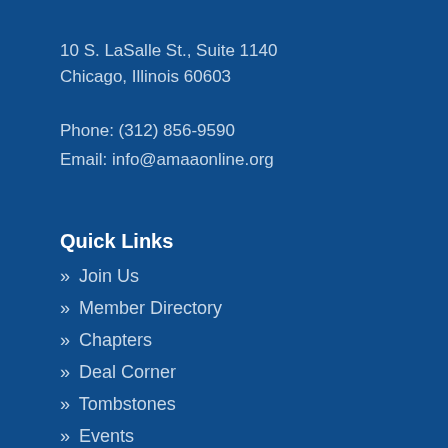10 S. LaSalle St., Suite 1140
Chicago, Illinois 60603
Phone: (312) 856-9590
Email: info@amaaonline.org
Quick Links
» Join Us
» Member Directory
» Chapters
» Deal Corner
» Tombstones
» Events
» Newsletter
» Contact Us